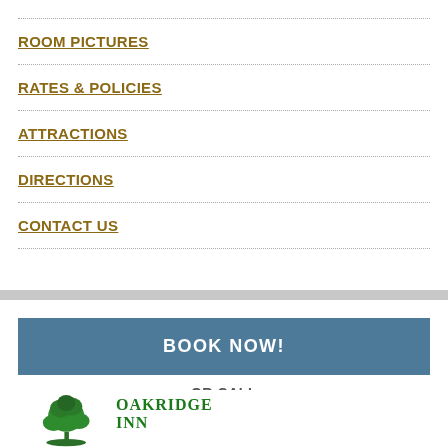ROOM PICTURES
RATES & POLICIES
ATTRACTIONS
DIRECTIONS
CONTACT US
BOOK NOW!
OR CALL
(805) 649-4018
[Figure (logo): Oakridge Inn logo with green tree illustration and text 'OAKRIDGE INN']